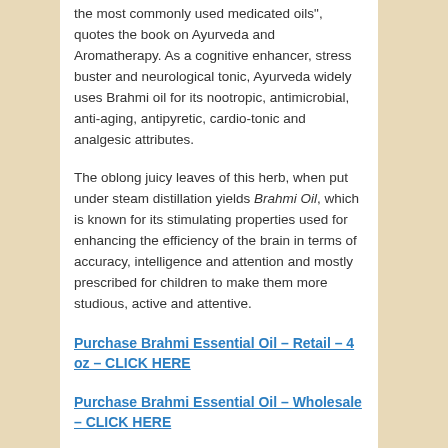the most commonly used medicated oils", quotes the book on Ayurveda and Aromatherapy. As a cognitive enhancer, stress buster and neurological tonic, Ayurveda widely uses Brahmi oil for its nootropic, antimicrobial, anti-aging, antipyretic, cardio-tonic and analgesic attributes.
The oblong juicy leaves of this herb, when put under steam distillation yields Brahmi Oil, which is known for its stimulating properties used for enhancing the efficiency of the brain in terms of accuracy, intelligence and attention and mostly prescribed for children to make them more studious, active and attentive.
Purchase Brahmi Essential Oil – Retail – 4 oz – CLICK HERE
Purchase Brahmi Essential Oil – Wholesale – CLICK HERE
Historical uses and importance of Brahmi and its essential oil: